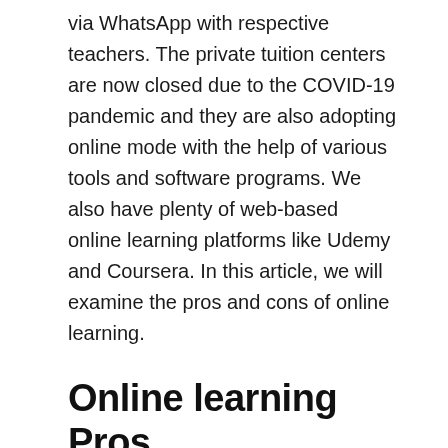via WhatsApp with respective teachers. The private tuition centers are now closed due to the COVID-19 pandemic and they are also adopting online mode with the help of various tools and software programs. We also have plenty of web-based online learning platforms like Udemy and Coursera. In this article, we will examine the pros and cons of online learning.
Online learning Pros
We now have now way other than to take part in the online learning mode. The situation is not conducive for classroom training due to the spike in the COVID-19 cases.